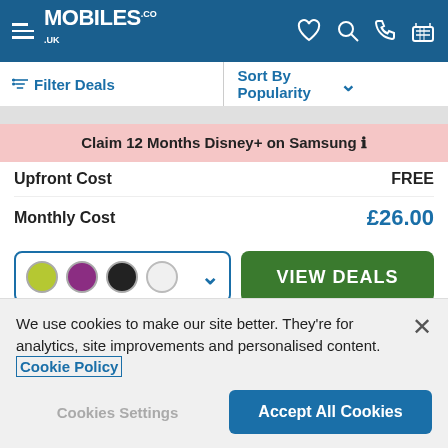Mobiles.co.uk — navigation header with hamburger menu, heart, search, phone, and basket icons
≡ Filter Deals    Sort By Popularity ∨
Claim 12 Months Disney+ on Samsung ℹ
Upfront Cost    FREE
Monthly Cost    £26.00
[Figure (screenshot): Color selector dropdown with lime, purple, black, white circles and a chevron, plus VIEW DEALS green button]
[Figure (screenshot): Partial next product card with red icon visible]
We use cookies to make our site better. They're for analytics, site improvements and personalised content. Cookie Policy
Cookies Settings    Accept All Cookies